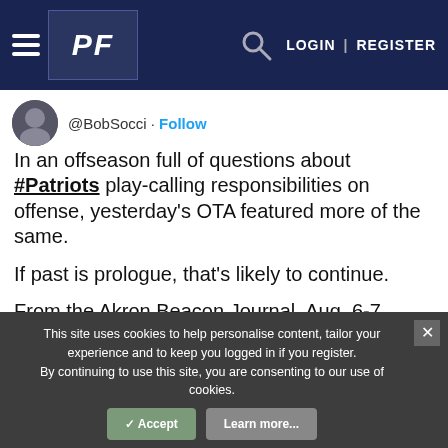PF LOGIN | REGISTER
@BobSocci · Follow
In an offseason full of questions about #Patriots play-calling responsibilities on offense, yesterday's OTA featured more of the same.

If past is prologue, that's likely to continue.

From the Akron Beacon Journal, Aug. 6-7, 1991.
[Figure (photo): Newspaper clipping showing the word 'strategy' on the left side and text about THE COACHING LINEUP and Bill Belichick on the right side]
This site uses cookies to help personalise content, tailor your experience and to keep you logged in if you register.
By continuing to use this site, you are consenting to our use of cookies.